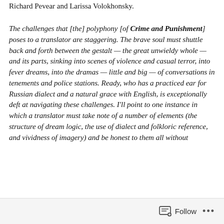Richard Pevear and Larissa Volokhonsky.
The challenges that [the] polyphony [of Crime and Punishment] poses to a translator are staggering. The brave soul must shuttle back and forth between the gestalt — the great unwieldy whole — and its parts, sinking into scenes of violence and casual terror, into fever dreams, into the dramas — little and big — of conversations in tenements and police stations. Ready, who has a practiced ear for Russian dialect and a natural grace with English, is exceptionally deft at navigating these challenges. I'll point to one instance in which a translator must take note of a number of elements (the structure of dream logic, the use of dialect and folkloric reference, and vividness of imagery) and be honest to them all without
Follow ···